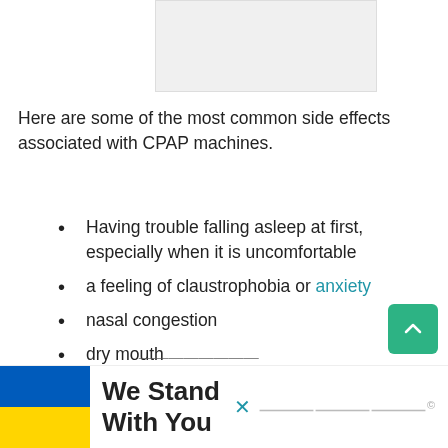[Figure (photo): Placeholder image at top of page]
Here are some of the most common side effects associated with CPAP machines.
Having trouble falling asleep at first, especially when it is uncomfortable
a feeling of claustrophobia or anxiety
nasal congestion
dry mouth
nosebleeds
Itchy or sore skin where the mask comes in contact with your face
[Figure (infographic): Ad banner: Ukrainian flag with 'We Stand With You' text and close button]